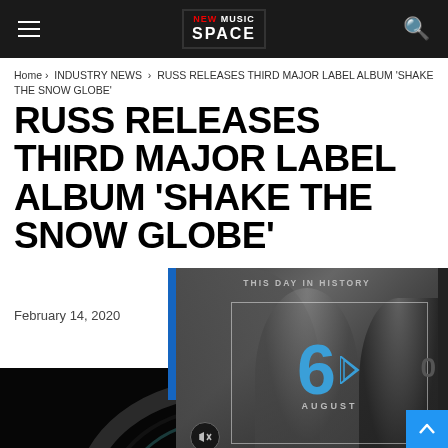NEW MUSIC SPACE
Home › INDUSTRY NEWS › RUSS RELEASES THIRD MAJOR LABEL ALBUM 'SHAKE THE SNOW GLOBE'
RUSS RELEASES THIRD MAJOR LABEL ALBUM 'SHAKE THE SNOW GLOBE'
February 14, 2020
[Figure (screenshot): Video popup overlay showing 'THIS DAY IN HISTORY' with the number 6 in blue and the month AUGUST, with a play button, overlaid on a dark image of people. A mute button is visible in the lower left.]
[Figure (photo): Bottom portion of page showing a dark/black background with the edge of what appears to be a vinyl record or circular object partially visible]